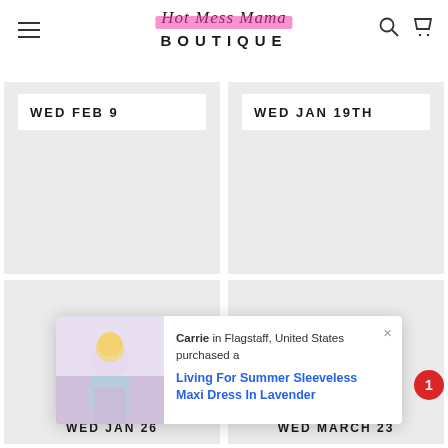Hot Mess Mama Boutique
[Figure (photo): Date card - WED FEB 9, light gray background]
[Figure (photo): Date card - WED JAN 19TH, light gray background]
[Figure (photo): Date card bottom left - WED JAN 26, light gray background]
[Figure (photo): Date card bottom right - WED MARCH 23, light gray background]
Carrie in Flagstaff, United States purchased a Living For Summer Sleeveless Maxi Dress In Lavender